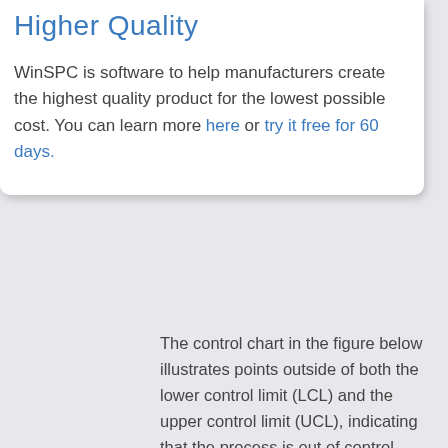Higher Quality
WinSPC is software to help manufacturers create the highest quality product for the lowest possible cost. You can learn more here or try it free for 60 days.
The control chart in the figure below illustrates points outside of both the lower control limit (LCL) and the upper control limit (UCL), indicating that the process is out of control. However, the points remain within the specification limits. Because the measurements are well within specifications, the parts are not defective.